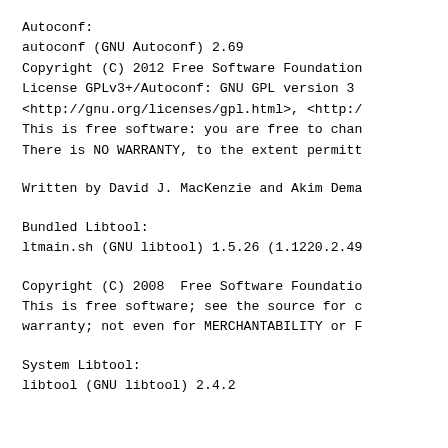Autoconf:
autoconf (GNU Autoconf) 2.69
Copyright (C) 2012 Free Software Foundation
License GPLv3+/Autoconf: GNU GPL version 3
<http://gnu.org/licenses/gpl.html>, <http:/
This is free software: you are free to chan
There is NO WARRANTY, to the extent permitt
Written by David J. MacKenzie and Akim Dema
Bundled Libtool:
ltmain.sh (GNU libtool) 1.5.26 (1.1220.2.49
Copyright (C) 2008  Free Software Foundatio
This is free software; see the source for c
warranty; not even for MERCHANTABILITY or F
System Libtool:
libtool (GNU libtool) 2.4.2